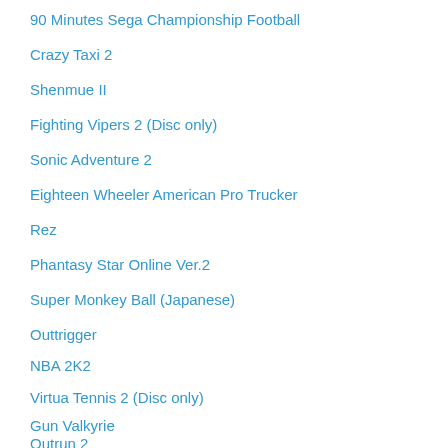90 Minutes Sega Championship Football
Crazy Taxi 2
Shenmue II
Fighting Vipers 2 (Disc only)
Sonic Adventure 2
Eighteen Wheeler American Pro Trucker
Rez
Phantasy Star Online Ver.2
Super Monkey Ball (Japanese)
Outtrigger
NBA 2K2
Virtua Tennis 2 (Disc only)
Gun Valkyrie
Outrun 2